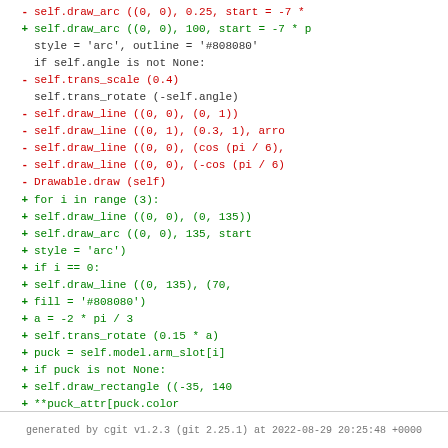[Figure (screenshot): Code diff showing changes to drawing methods in Python source code, with red lines for deletions and green lines for additions.]
generated by cgit v1.2.3 (git 2.25.1) at 2022-08-29 20:25:48 +0000